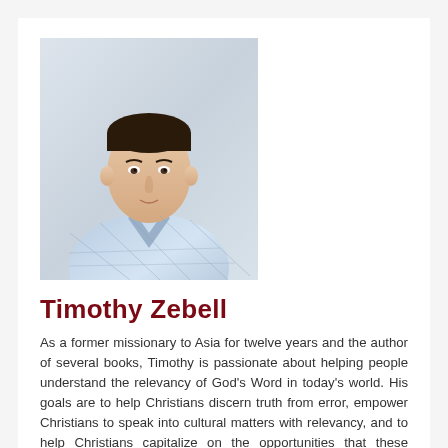[Figure (photo): Headshot photo of Timothy Zebell, a young man with short dark hair wearing a blue and white plaid shirt, against a light background.]
Timothy Zebell
As a former missionary to Asia for twelve years and the author of several books, Timothy is passionate about helping people understand the relevancy of God's Word in today's world. His goals are to help Christians discern truth from error, empower Christians to speak into cultural matters with relevancy, and to help Christians capitalize on the opportunities that these matters provide for sharing the truth about God and His gospel message.